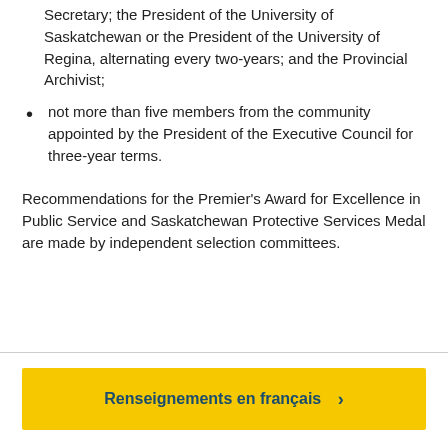Secretary; the President of the University of Saskatchewan or the President of the University of Regina, alternating every two-years; and the Provincial Archivist;
not more than five members from the community appointed by the President of the Executive Council for three-year terms.
Recommendations for the Premier's Award for Excellence in Public Service and Saskatchewan Protective Services Medal are made by independent selection committees.
Renseignements en français ›